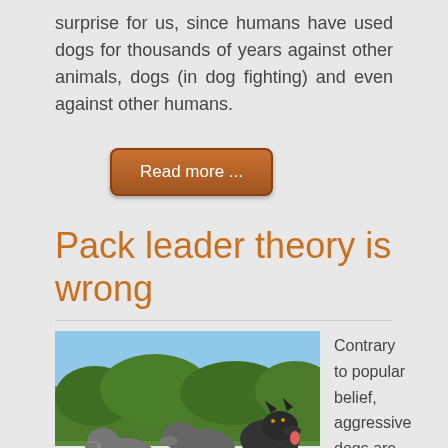surprise for us, since humans have used dogs for thousands of years against other animals, dogs (in dog fighting) and even against other humans.
Read more ...
Pack leader theory is wrong
[Figure (photo): Three wolves standing on rocks outdoors with trees and blue sky in background]
Contrary to popular belief, aggressive dogs are NOT trying to assert their dominance over their canine or human "pack", according to research published by academics at the University of Bristol's Department of Clinical Veterinary...